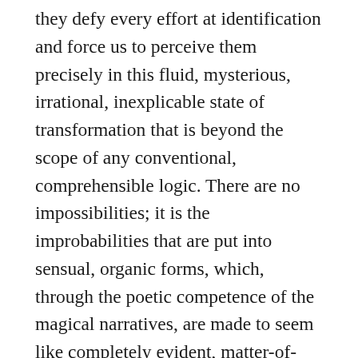they defy every effort at identification and force us to perceive them precisely in this fluid, mysterious, irrational, inexplicable state of transformation that is beyond the scope of any conventional, comprehensible logic. There are no impossibilities; it is the improbabilities that are put into sensual, organic forms, which, through the poetic competence of the magical narratives, are made to seem like completely evident, matter-of-course, everyday reality. This light, natural, even naïve treatment of the world of magic, of improbable imaginings and hallucinations, intensifies the magical, cultic, paralogical element of the narrative, which incorporates irrational connections and transformations into the pictorial event as if they were an absolutely matter-of-